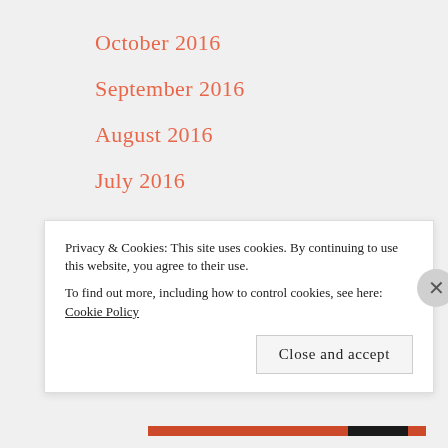October 2016
September 2016
August 2016
July 2016
June 2016
May 2016
April 2016
March 2016
Privacy & Cookies: This site uses cookies. By continuing to use this website, you agree to their use.
To find out more, including how to control cookies, see here: Cookie Policy
Close and accept